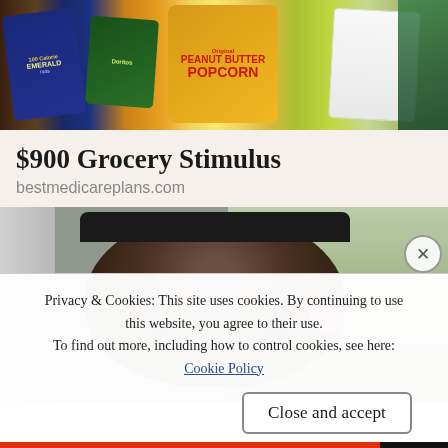[Figure (photo): Photo of snack food packages including Emerald 100 Calorie packs, a green bag, Peanut Butter Popcorn yellow bag, and a white/teal blanket on a wooden surface]
$900 Grocery Stimulus
bestmedicareplans.com
[Figure (photo): Photo of a person wearing a dark baseball cap and sunglasses, sitting near a vehicle door, with a pink bow accessory visible. Outdoor background with green grass and bare trees.]
Privacy & Cookies: This site uses cookies. By continuing to use this website, you agree to their use.
To find out more, including how to control cookies, see here:
Cookie Policy
Close and accept